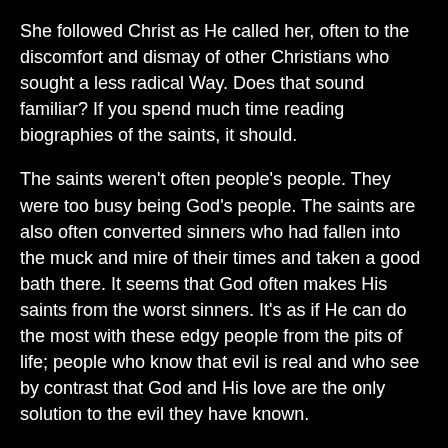She followed Christ as He called her, often to the discomfort and dismay of other Christians who sought a less radical Way. Does that sound familiar? If you spend much time reading biographies of the saints, it should.
The saints weren't often people's people. They were too busy being God's people. The saints are also often converted sinners who had fallen into the muck and mire of their times and taken a good bath there. It seems that God often makes His saints from the worst sinners. It's as if He can do the most with these edgy people from the pits of life; people who know that evil is real and who see by contrast that God and His love are the only solution to the evil they have known.
Dorothy Day was a converted sinner. She took her turn at living life in the fast lane of the early 20th Century. She ran with the crowd and followed its ways up to and including having an abortion. Then, as people have been doing for 2,000 years, she found Jesus, or, I would imagine, she let Him find her. And that made all the difference.